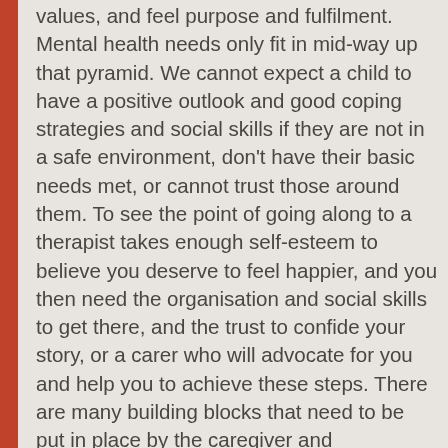values, and feel purpose and fulfilment. Mental health needs only fit in mid-way up that pyramid. We cannot expect a child to have a positive outlook and good coping strategies and social skills if they are not in a safe environment, don't have their basic needs met, or cannot trust those around them. To see the point of going along to a therapist takes enough self-esteem to believe you deserve to feel happier, and you then need the organisation and social skills to get there, and the trust to confide your story, or a carer who will advocate for you and help you to achieve these steps. There are many building blocks that need to be put in place by the caregiver and environment before therapeutic interventions are possible, and it may be that when we get these other elements right, the child is able to recover using their own